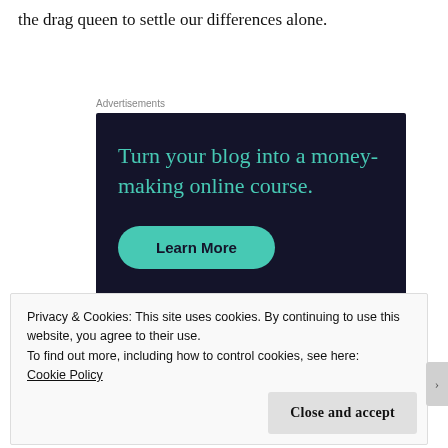the drag queen to settle our differences alone.
Advertisements
[Figure (other): Advertisement banner with dark navy background showing text 'Turn your blog into a money-making online course.' with a teal/green 'Learn More' button]
Privacy & Cookies: This site uses cookies. By continuing to use this website, you agree to their use.
To find out more, including how to control cookies, see here:
Cookie Policy
Close and accept